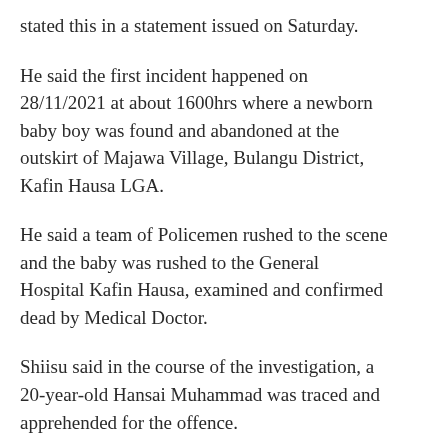stated this in a statement issued on Saturday.
He said the first incident happened on 28/11/2021 at about 1600hrs where a newborn baby boy was found and abandoned at the outskirt of Majawa Village, Bulangu District, Kafin Hausa LGA.
He said a team of Policemen rushed to the scene and the baby was rushed to the General Hospital Kafin Hausa, examined and confirmed dead by Medical Doctor.
Shiisu said in the course of the investigation, a 20-year-old Hansai Muhammad was traced and apprehended for the offence.
The Police Spokesman added that days later, another abandoned newborn baby was also discovered in Dutse.
He said the baby was also examined and certified healthy by a medical doctor and was handed over to Orphanage House